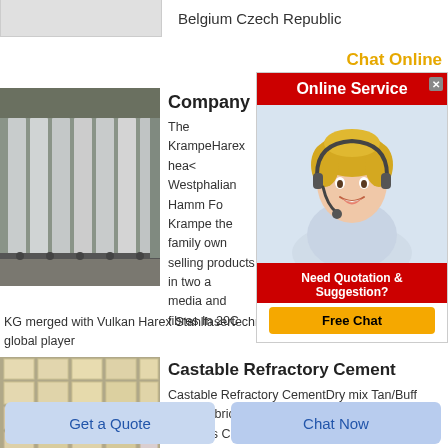Belgium Czech Republic
Chat Online
[Figure (screenshot): Online Service chat widget with red header, agent photo, Need Quotation & Suggestion text, and Free Chat button]
Company
[Figure (photo): Industrial warehouse with large white/grey rectangular panels stacked vertically on roller racks]
The KrampeHarex head Westphalian Hamm Fo Krampe the family own selling products in two a media and fibres In 20C
KG merged with Vulkan Harex Stahlfasertechnik Co KG global player
Castable Refractory Cement
[Figure (photo): Warehouse with stacked beige/tan refractory brick blocks arranged in rows]
Castable Refractory CementDry mix Tan/Buff Repairs bricks and linings Fast setting and non asbestos Can be cast into custom shapes or as
Get a Quote
Chat Now